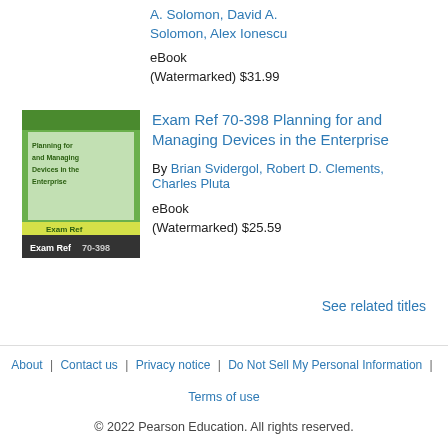A. Solomon, David A. Solomon, Alex Ionescu
eBook (Watermarked) $31.99
[Figure (illustration): Book cover for Exam Ref 70-398 Planning for and Managing Devices in the Enterprise — green cover with yellow label strip at bottom showing 'Exam Ref 70-398']
Exam Ref 70-398 Planning for and Managing Devices in the Enterprise
By Brian Svidergol, Robert D. Clements, Charles Pluta
eBook (Watermarked) $25.59
See related titles
About | Contact us | Privacy notice | Do Not Sell My Personal Information | Terms of use
© 2022 Pearson Education. All rights reserved.